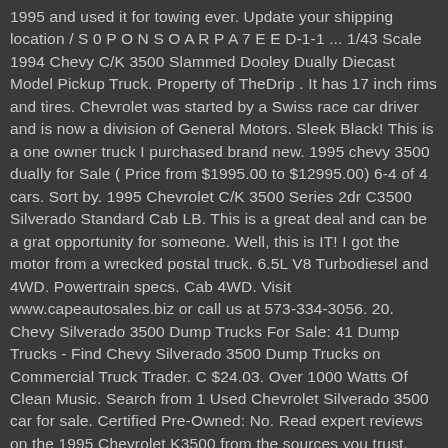1995 and used it for towing ever. Update your shipping location / S 0 P O N S O A R P A 7 E E D-1-1 ... 1/43 Scale 1994 Chevy C/K 3500 Slammed Dooley Dually Diecast Model Pickup Truck. Property of TheDrip . It has 17 inch rims and tires. Chevrolet was started by a Swiss race car driver and is now a division of General Motors. Sleek Black! This is a one owner truck I purchased brand new. 1995 chevy 3500 dually for Sale ( Price from $1995.00 to $12995.00) 6-4 of 4 cars. Sort by. 1995 Chevrolet C/K 3500 Series 2dr C3500 Silverado Standard Cab LB. This is a great deal and can be a grat opportunity for someone. Well, this is IT! I got the motor from a wrecked postal truck. 6.5L V8 Turbodiesel and 4WD. Powertrain specs. Cab 4WD. Visit www.capeautosales.biz or call us at 573-334-3056. 20. Chevy Silverado 3500 Dump Trucks For Sale: 41 Dump Trucks - Find Chevy Silverado 3500 Dump Trucks on Commercial Truck Trader. C $24.03. Over 1000 Watts Of Clean Music. Search from 1 Used Chevrolet Silverado 3500 car for sale. Certified Pre-Owned: No. Read expert reviews on the 1995 Chevrolet K3500 from the sources you trust. TRAN: 4-Speed Automatic.